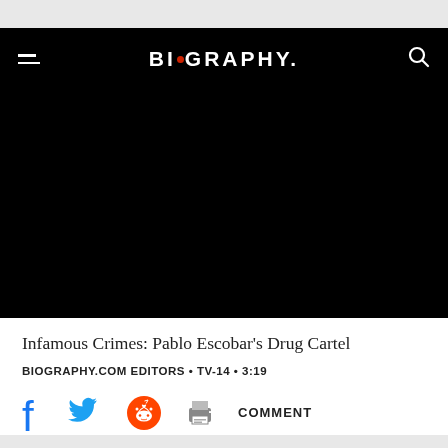BIOGRAPHY
[Figure (photo): Black video player area for Biography.com video]
Infamous Crimes: Pablo Escobar's Drug Cartel
BIOGRAPHY.COM EDITORS • TV-14 • 3:19
Social sharing icons: Facebook, Twitter, Reddit, Print, Comment